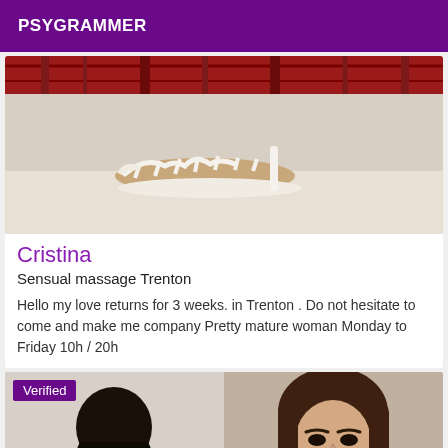PSYGRAMMER
[Figure (photo): Photo of white strappy high heel sandal shoe on light background with red plaid fabric visible at top]
Cristina
Sensual massage Trenton
Hello my love returns for 3 weeks. in Trenton . Do not hesitate to come and make me company Pretty mature woman Monday to Friday 10h / 20h
[Figure (photo): Two photos side by side: left shows woman with long dark black hair from behind; right shows woman with dark brown hair facing camera]